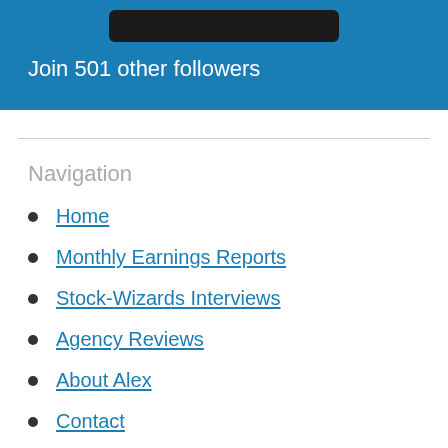[Figure (screenshot): Blue banner with dark rounded button at top and text 'Join 501 other followers' in white]
Navigation
Home
Monthly Earnings Reports
Stock-Wizards Interviews
Agency Reviews
About Alex
Contact